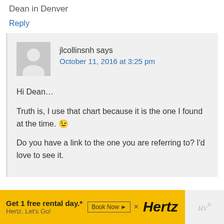Dean in Denver
Reply
jlcollinsnh says
October 11, 2016 at 3:25 pm
Hi Dean…
Truth is, I use that chart because it is the one I found at the time. 😉
Do you have a link to the one you are referring to? I'd love to see it.
[Figure (other): Advertisement banner: Get 1 free rental day.* Book Now | Hertz. Let's Go!]